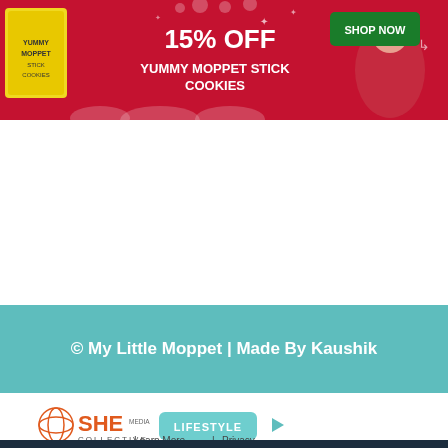[Figure (infographic): Advertisement banner with pink/red background: '15% OFF YUMMY MOPPET STICK COOKIES' with SHOP NOW button and cookie product image]
[Figure (infographic): Teal footer bar with white bold text: © My Little Moppet | Made By Kaushik]
[Figure (logo): SHE Media Collective LIFESTYLE logo with play button icon, and 'Learn More | Privacy' links]
[Figure (infographic): Bottom advertisement: 'WE HELP CONTENT CREATORS GROW BUSINESSES THROUGH...' with SHE MEDIA PARTNER NETWORK logo and LEARN MORE button]